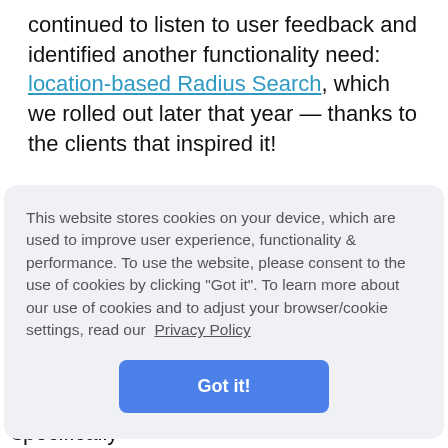continued to listen to user feedback and identified another functionality need: location-based Radius Search, which we rolled out later that year — thanks to the clients that inspired it!
This website stores cookies on your device, which are used to improve user experience, functionality & performance. To use the website, please consent to the use of cookies by clicking "Got it". To learn more about our use of cookies and to adjust your browser/cookie settings, read our Privacy Policy
Got it!
understand the needs of our users specifically